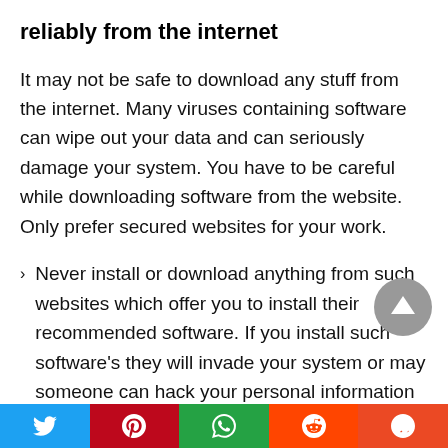reliably from the internet
It may not be safe to download any stuff from the internet. Many viruses containing software can wipe out your data and can seriously damage your system. You have to be careful while downloading software from the website. Only prefer secured websites for your work.
Never install or download anything from such websites which offer you to install their recommended software. If you install such software's they will invade your system or may someone can hack your personal information by